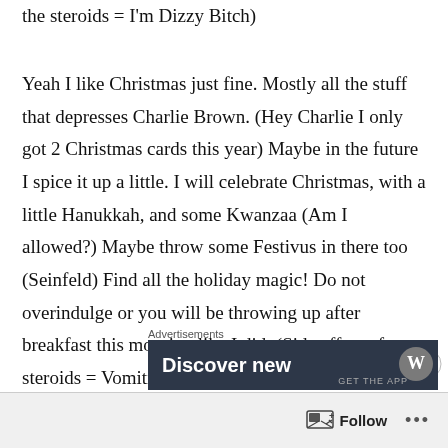the steroids = I'm Dizzy Bitch)
Yeah I like Christmas just fine. Mostly all the stuff that depresses Charlie Brown. (Hey Charlie I only got 2 Christmas cards this year) Maybe in the future I spice it up a little. I will celebrate Christmas, with a little Hanukkah, and some Kwanzaa (Am I allowed?) Maybe throw some Festivus in there too (Seinfeld) Find all the holiday magic! Do not overindulge or you will be throwing up after breakfast this morning like I did. (Side effect of steroids = Vomiting)
Advertisements
Discover new